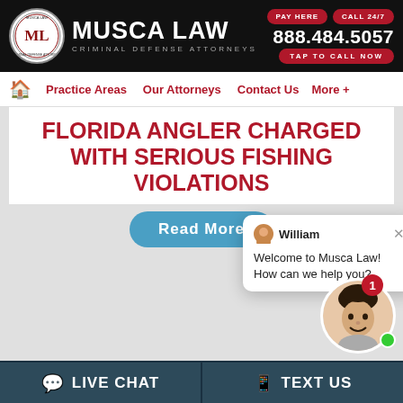MUSCA LAW | CRIMINAL DEFENSE ATTORNEYS | PAY HERE | CALL 24/7 | 888.484.5057 | TAP TO CALL NOW
Practice Areas | Our Attorneys | Contact Us | More +
FLORIDA ANGLER CHARGED WITH SERIOUS FISHING VIOLATIONS
[Figure (screenshot): Chat popup with avatar of William and message: Welcome to Musca Law! How can we help you?]
Read More
[Figure (photo): Live chat widget with agent photo, notification badge showing 1, and green online indicator dot]
LIVE CHAT | TEXT US